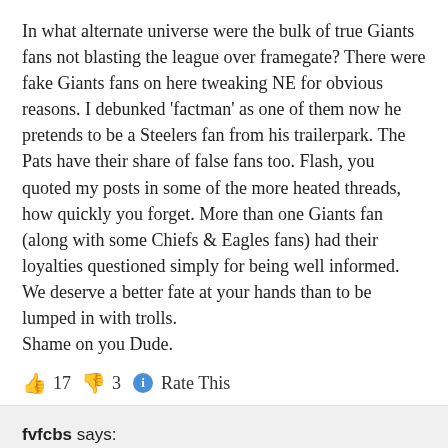In what alternate universe were the bulk of true Giants fans not blasting the league over framegate? There were fake Giants fans on here tweaking NE for obvious reasons. I debunked 'factman' as one of them now he pretends to be a Steelers fan from his trailerpark. The Pats have their share of false fans too. Flash, you quoted my posts in some of the more heated threads, how quickly you forget. More than one Giants fan (along with some Chiefs & Eagles fans) had their loyalties questioned simply for being well informed. We deserve a better fate at your hands than to be lumped in with trolls. Shame on you Dude.
👍 17 👎 3 ℹ Rate This
fvfcbs says:
October 21, 2016 at 10:19 am
At some point the NFL needed to send someone to the Sheriff's office and file the request in-person. Leave a business card and follow up with a WRITTEN letter on NFL letterhead...